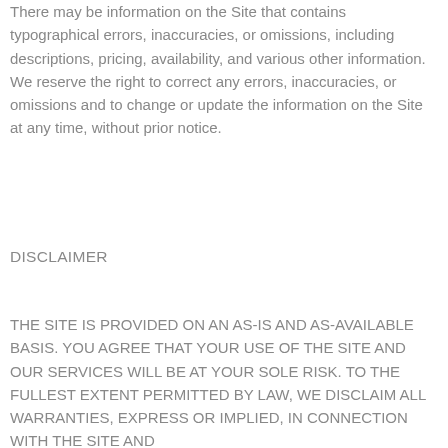There may be information on the Site that contains typographical errors, inaccuracies, or omissions, including descriptions, pricing, availability, and various other information. We reserve the right to correct any errors, inaccuracies, or omissions and to change or update the information on the Site at any time, without prior notice.
DISCLAIMER
THE SITE IS PROVIDED ON AN AS-IS AND AS-AVAILABLE BASIS. YOU AGREE THAT YOUR USE OF THE SITE AND OUR SERVICES WILL BE AT YOUR SOLE RISK. TO THE FULLEST EXTENT PERMITTED BY LAW, WE DISCLAIM ALL WARRANTIES, EXPRESS OR IMPLIED, IN CONNECTION WITH THE SITE AND